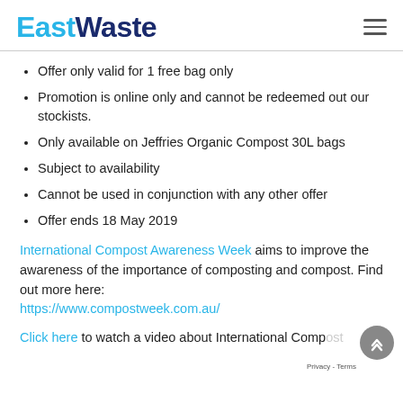EastWaste
Offer only valid for 1 free bag only
Promotion is online only and cannot be redeemed out our stockists.
Only available on Jeffries Organic Compost 30L bags
Subject to availability
Cannot be used in conjunction with any other offer
Offer ends 18 May 2019
International Compost Awareness Week aims to improve the awareness of the importance of composting and compost. Find out more here: https://www.compostweek.com.au/
Click here to watch a video about International Compost